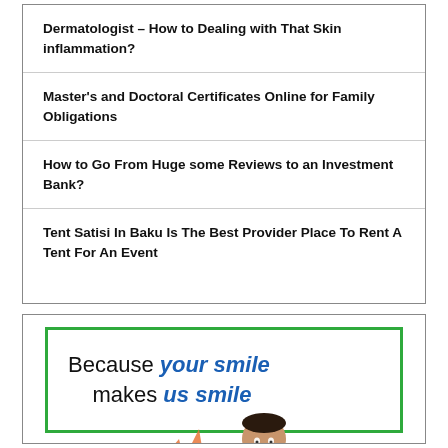Dermatologist – How to Dealing with That Skin inflammation?
Master's and Doctoral Certificates Online for Family Obligations
How to Go From Huge some Reviews to an Investment Bank?
Tent Satisi In Baku Is The Best Provider Place To Rent A Tent For An Event
[Figure (illustration): Advertisement banner with green border. Text reads 'Because your smile makes us smile' with 'your smile' and 'us smile' in blue italic. Shows a person smiling at the bottom.]